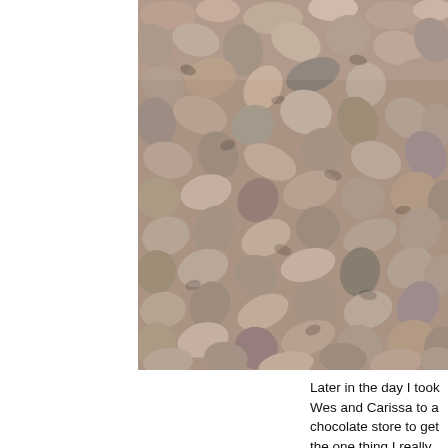[Figure (photo): Close-up photograph of small mixed gravel/pebbles in muted purple, gray, tan, and pink tones, filling the entire frame of the image.]
Later in the day I took Wes and Carissa to a chocolate store to get the one thing I really wanted: a slice